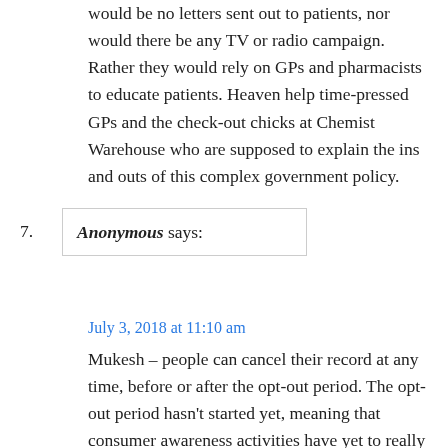would be no letters sent out to patients, nor would there be any TV or radio campaign. Rather they would rely on GPs and pharmacists to educate patients. Heaven help time-pressed GPs and the check-out chicks at Chemist Warehouse who are supposed to explain the ins and outs of this complex government policy.
7. Anonymous says:
July 3, 2018 at 11:10 am
Mukesh – people can cancel their record at any time, before or after the opt-out period. The opt-out period hasn't started yet, meaning that consumer awareness activities have yet to really ramp-up. Also, Mr Robertson-Dunn doesn't seem to understand that the information in a record isn't only visible to the patient, helping them further understand their health, but is also visible to any